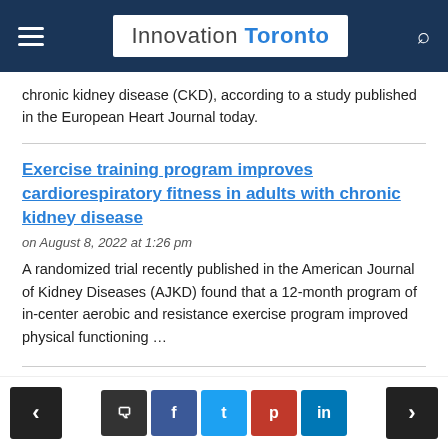Innovation Toronto
chronic kidney disease (CKD), according to a study published in the European Heart Journal today.
Exercise training program improves cardiorespiratory fitness in adults with chronic kidney disease
on August 8, 2022 at 1:26 pm
A randomized trial recently published in the American Journal of Kidney Diseases (AJKD) found that a 12-month program of in-center aerobic and resistance exercise program improved physical functioning …
Gold Nanoparticle Sensors for Detecting
< comment f t p in >